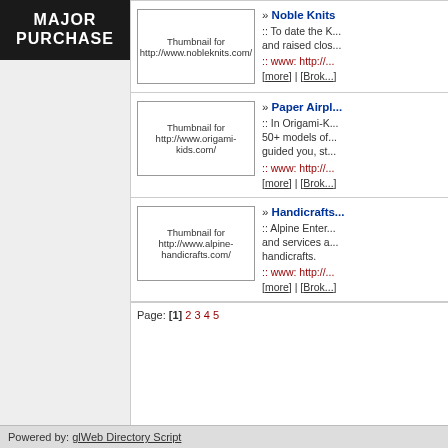MAJOR PURCHASE
[Figure (screenshot): Thumbnail for http://www.nobleknits.com/]
» Noble Knits
:: To date the K... and raised clos...
:: www: http://...
[more] | [Brok...
[Figure (screenshot): Thumbnail for http://www.origami-kids.com/]
» Paper Airpl...
:: In Origami-K... 50+ models of... guided you, st...
:: www: http://...
[more] | [Brok...
[Figure (screenshot): Thumbnail for http://www.alpine-handicrafts.com/]
» Handicrafts...
:: Alpine Enter... and services a... handicrafts.
:: www: http://...
[more] | [Brok...
Page: [1] 2 3 4 5
Powered by: glWeb Directory Script